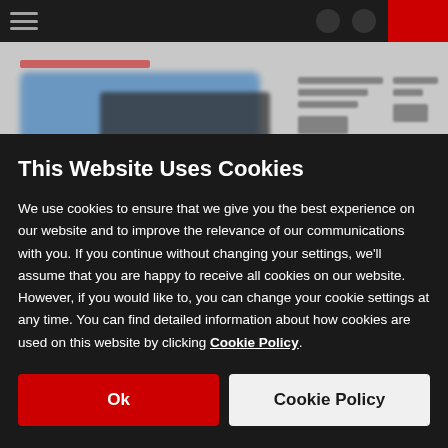[Figure (screenshot): Blurred website background showing a dark navigation bar with hamburger menu and red accent box, and a page content area with a blurred car image in blue.]
This Website Uses Cookies
We use cookies to ensure that we give you the best experience on our website and to improve the relevance of our communications with you. If you continue without changing your settings, we'll assume that you are happy to receive all cookies on our website. However, if you would like to, you can change your cookie settings at any time. You can find detailed information about how cookies are used on this website by clicking Cookie Policy.
Ok
Cookie Policy